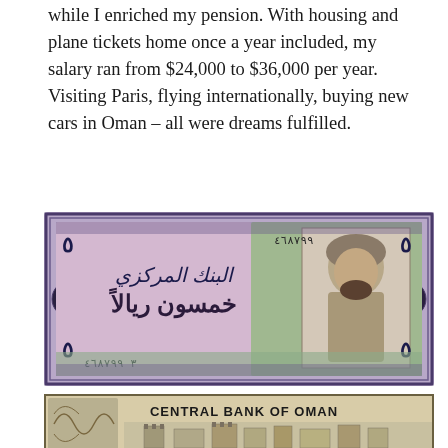while I enriched my pension. With housing and plane tickets home once a year included, my salary ran from $24,000 to $36,000 per year. Visiting Paris, flying internationally, buying new cars in Oman – all were dreams fulfilled.
[Figure (photo): Omani 50 rial banknote (Arabic script side), showing portrait of Sultan Qaboos on the right, Arabic calligraphy in center, serial number 4668799, ornate border design, lavender and green colors.]
[Figure (photo): Omani banknote (English side), showing text 'CENTRAL BANK OF OMAN' at top, illustration of a castle/fortress building, palm trees, ornate scroll design on left.]